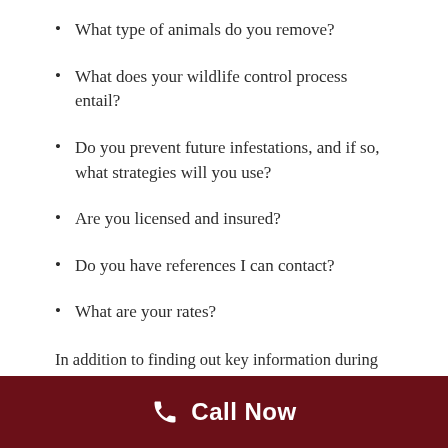What type of animals do you remove?
What does your wildlife control process entail?
Do you prevent future infestations, and if so, what strategies will you use?
Are you licensed and insured?
Do you have references I can contact?
What are your rates?
In addition to finding out key information during the consultation process, you should also pay attention to the
Call Now